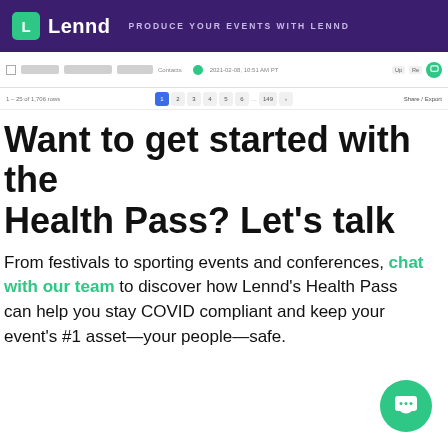Lennd — PRODUCE YOUR EVENTS WITH LENND
[Figure (screenshot): Email/app toolbar with checkbox, blurred column headers, date stamp, green status dot, and pagination controls showing pages 1-6 of 149]
Want to get started with the Health Pass? Let's talk
From festivals to sporting events and conferences, chat with our team to discover how Lennd's Health Pass can help you stay COVID compliant and keep your event's #1 asset—your people—safe.